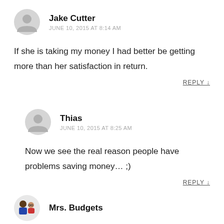Jake Cutter
JUNE 10, 2015 AT 8:14 AM
If she is taking my money I had better be getting more than her satisfaction in return.
REPLY ↓
Thias
JUNE 10, 2015 AT 8:25 AM
Now we see the real reason people have problems saving money… ;)
REPLY ↓
Mrs. Budgets